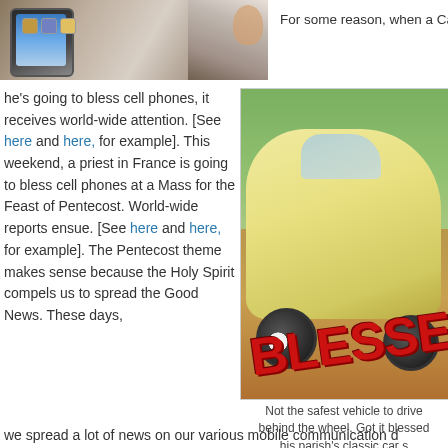[Figure (photo): Photo of a phone/tablet screen showing app icons, partially cropped]
For some reason, when a Catho
he's going to bless cell phones, it receives world-wide attention. [See here and here, for example]. This weekend, a priest in France is going to bless cell phones at a Mass for the Feast of Pentecost. World-wide reports ensue. [See here and here, for example]. The Pentecost theme makes sense because the Holy Spirit compels us to spread the Good News. These days,
[Figure (photo): Photo of a yellow classic convertible car (VW Beetle) with 'BLESSED' text overlaid in red]
Not the safest vehicle to drive behind the wheel. Got it blessed his parish's classic car s
we spread a lot of news on our various mobile communication d